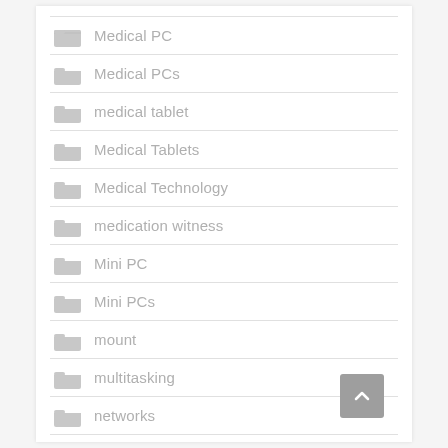Medical PC
Medical PCs
medical tablet
Medical Tablets
Medical Technology
medication witness
Mini PC
Mini PCs
mount
multitasking
networks